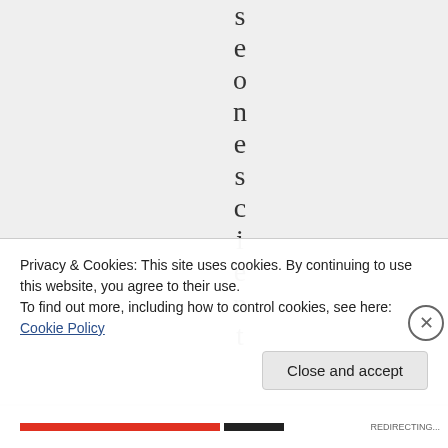s e o n e s c i e n t
Privacy & Cookies: This site uses cookies. By continuing to use this website, you agree to their use.
To find out more, including how to control cookies, see here: Cookie Policy
Close and accept